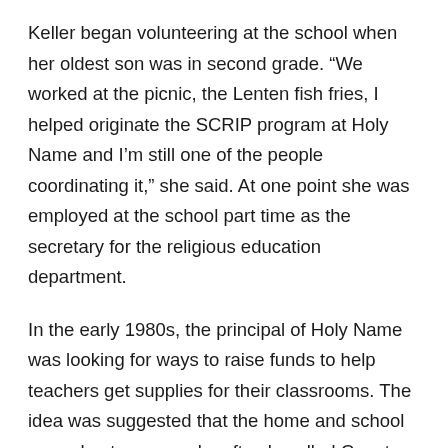Keller began volunteering at the school when her oldest son was in second grade. “We worked at the picnic, the Lenten fish fries, I helped originate the SCRIP program at Holy Name and I’m still one of the people coordinating it,” she said. At one point she was employed at the school part time as the secretary for the religious education department.
In the early 1980s, the principal of Holy Name was looking for ways to raise funds to help teachers get supplies for their classrooms. The idea was suggested that the home and school group host an annual craft sale called Country Christmas. Holy Angels in Darboy had their own craft sale